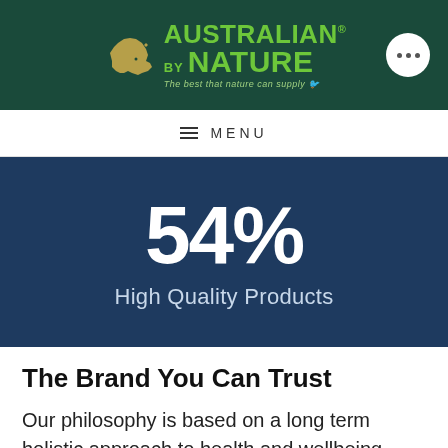Australian By Nature — The best that nature can supply
MENU
54%
High Quality Products
The Brand You Can Trust
Our philosophy is based on a long term holistic approach to health and wellbeing. Utilising substances found in nature, our products provide